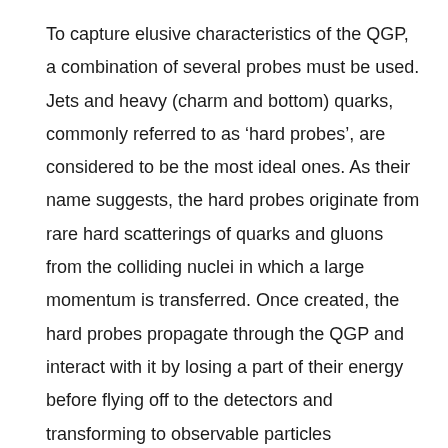To capture elusive characteristics of the QGP, a combination of several probes must be used. Jets and heavy (charm and bottom) quarks, commonly referred to as 'hard probes', are considered to be the most ideal ones. As their name suggests, the hard probes originate from rare hard scatterings of quarks and gluons from the colliding nuclei in which a large momentum is transferred. Once created, the hard probes propagate through the QGP and interact with it by losing a part of their energy before flying off to the detectors and transforming to observable particles ('hadrons') in a process called hadronization.
The ploughing quarks and gluons thus carry essential